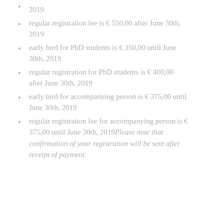2019
regular registration fee is € 550,00 after June 30th, 2019
early bird for PhD students is € 350,00 until June 30th, 2019
regular registration for PhD students is € 400,00 after June 30th, 2019
early bird for accompanying person is € 375,00 until June 30th, 2019
regular registration fee for accompanying person is € 375,00 until June 30th, 2019 Please note that confirmation of your registration will be sent after receipt of payment.